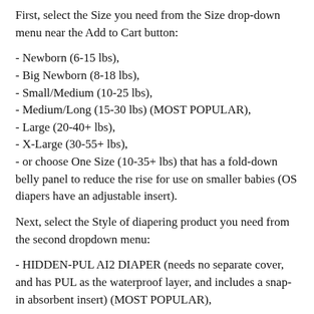First, select the Size you need from the Size drop-down menu near the Add to Cart button:
- Newborn (6-15 lbs),
- Big Newborn (8-18 lbs),
- Small/Medium (10-25 lbs),
- Medium/Long (15-30 lbs) (MOST POPULAR),
- Large (20-40+ lbs),
- X-Large (30-55+ lbs),
- or choose One Size (10-35+ lbs) that has a fold-down belly panel to reduce the rise for use on smaller babies (OS diapers have an adjustable insert).
Next, select the Style of diapering product you need from the second dropdown menu:
- HIDDEN-PUL AI2 DIAPER (needs no separate cover, and has PUL as the waterproof layer, and includes a snap-in absorbent insert) (MOST POPULAR),
- WIND PRO AI2 DIAPER (needs no separate cover, and has breathable high quality Wind Pro fleece by Polartec as the waterproof layer, and includes a snap-in absorbent